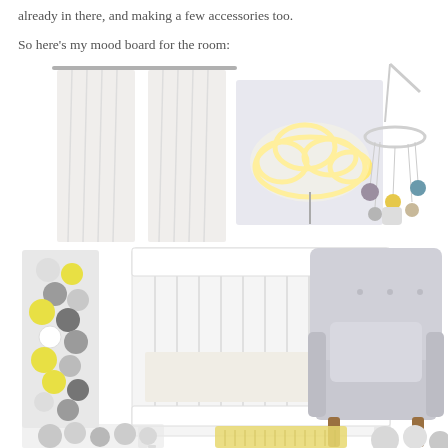already in there, and making a few accessories too.
So here's my mood board for the room:
[Figure (photo): Mood board collage for a nursery room showing: white sheer curtains, a cloud-shaped neon light, a baby crib mobile with colorful pom-poms, a string of colorful ball lights (grey, yellow, white), a white IKEA baby crib, a light grey Strandmon wingback armchair, and partial views of additional nursery accessories at the bottom.]